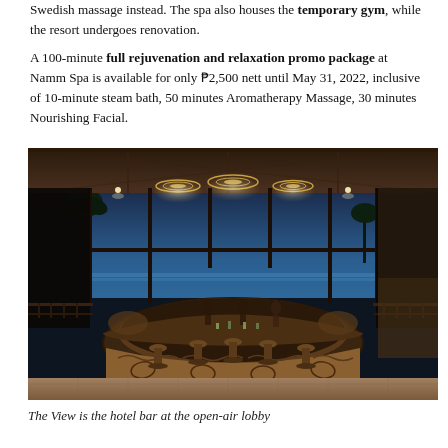Swedish massage instead. The spa also houses the temporary gym, while the resort undergoes renovation. A 100-minute full rejuvenation and relaxation promo package at Namm Spa is available for only ₱2,500 nett until May 31, 2022, inclusive of 10-minute steam bath, 50 minutes Aromatherapy Massage, 30 minutes Nourishing Facial.
[Figure (photo): Interior of The View hotel bar at an open-air lobby. A large circular bar counter with dark wood paneling featuring decorative wave/leaf carvings occupies the center. Round pendant lights hang from a high geometric ceiling. Floor-to-ceiling glass windows reveal a blue ocean and palm tree vista at dusk. Dining chairs and tables surround the bar area.]
The View is the hotel bar at the open-air lobby